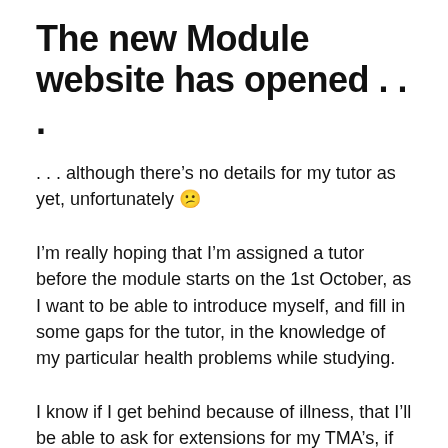The new Module website has opened . . .
. . . although there’s no details for my tutor as yet, unfortunately 😕
I’m really hoping that I’m assigned a tutor before the module starts on the 1st October, as I want to be able to introduce myself, and fill in some gaps for the tutor, in the knowledge of my particular health problems while studying.
I know if I get behind because of illness, that I’ll be able to ask for extensions for my TMA’s, if needed, but it’s always